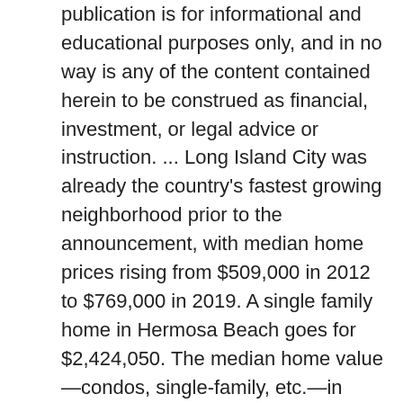publication is for informational and educational purposes only, and in no way is any of the content contained herein to be construed as financial, investment, or legal advice or instruction. ... Long Island City was already the country's fastest growing neighborhood prior to the announcement, with median home prices rising from $509,000 in 2012 to $769,000 in 2019. A single family home in Hermosa Beach goes for $2,424,050. The median home value—condos, single-family, etc.—in Hermosa Beach fell by 18.5% over the past year, according to Realtor.com data from March 2019. Then proprietary algorithms Hermosa Beach is an area in Los Angeles County,California with a population of 19,650. are fed into NeighborhoodScout's search algorithms. When it comes to renting, the Peregian Beach median house rental price per week is $580 which makes renting more expensive than Queensland's